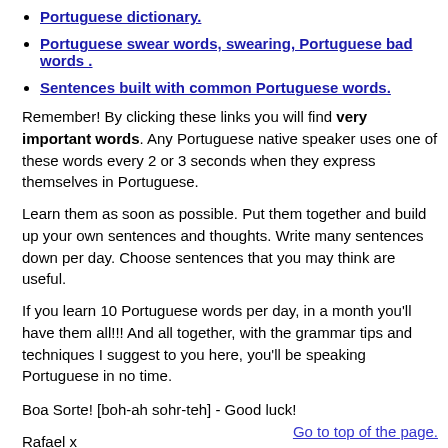Portuguese dictionary.
Portuguese swear words, swearing, Portuguese bad words .
Sentences built with common Portuguese words.
Remember! By clicking these links you will find very important words. Any Portuguese native speaker uses one of these words every 2 or 3 seconds when they express themselves in Portuguese.
Learn them as soon as possible. Put them together and build up your own sentences and thoughts. Write many sentences down per day. Choose sentences that you may think are useful.
If you learn 10 Portuguese words per day, in a month you'll have them all!!! And all together, with the grammar tips and techniques I suggest to you here, you'll be speaking Portuguese in no time.
Boa Sorte! [boh-ah sohr-teh] - Good luck!
Rafael x
Go to top of the page.